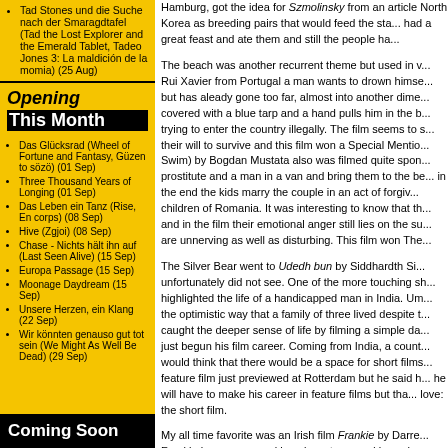Tad Stones und die Suche nach der Smaragdtafel (Tad the Lost Explorer and the Emerald Tablet, Tadeo Jones 3: La maldición de la momia) (25 Aug)
Opening This Month
Das Glücksrad (Wheel of Fortune and Fantasy, Güzen to sözö) (01 Sep)
Three Thousand Years of Longing (01 Sep)
Das Leben ein Tanz (Rise, En corps) (08 Sep)
Hive (Zgjoi) (08 Sep)
Chase - Nichts hält ihn auf (Last Seen Alive) (15 Sep)
Europa Passage (15 Sep)
Moonage Daydream (15 Sep)
Unsere Herzen, ein Klang (22 Sep)
Wir könnten genauso gut tot sein (We Might As Well Be Dead) (29 Sep)
Coming Soon
Hamburg, got the idea for Szmolinsky from an article North Korea as breeding pairs that would feed the sta... had a great feast and ate them and still the people ha...
The beach was another recurrent theme but used in v... Rui Xavier from Portugal a man wants to drown himse... but has aleady gone too far, almost into another dime... covered with a blue tarp and a hand pulls him in the b... trying to enter the country illegally. The film seems to s... their will to survive and this film won a Special Mentio... Swim) by Bogdan Mustata also was filmed quite spon... prostitute and a man in a van and bring them to the be... in the end the kids marry the couple in an act of forgiv... children of Romania. It was interesting to know that th... and in the film their emotional anger still lies on the su... are unnerving as well as disturbing. This film won The...
The Silver Bear went to Udedh bun by Siddhardth Si... unfortunately did not see. One of the more touching sh... highlighted the life of a handicapped man in India. Um... the optimistic way that a family of three lived despite t... caught the deeper sense of life by filming a simple da... just begun his film career. Coming from India, a count... would think that there would be a space for short films... feature film just previewed at Rotterdam but he said h... he will have to make his career in feature films but tha... love: the short film.
My all time favorite was an Irish film Frankie by Darre... Frankie is a young, working-class, teenaged boy who,... and explaining to the audience his views on fatherhoo... young father and even shows us the girl who will be th... responsibility that is required to raise a baby. Ther...